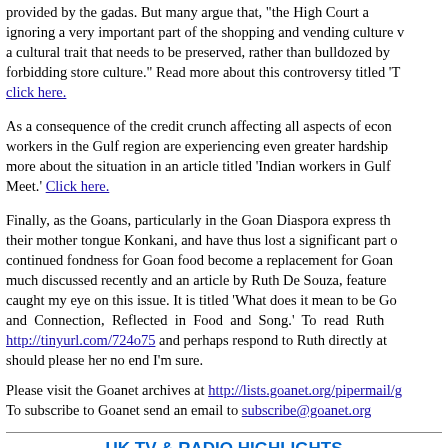provided by the gadas. But many argue that, "the High Court a ignoring a very important part of the shopping and vending culture v a cultural trait that needs to be preserved, rather than bulldozed by forbidding store culture." Read more about this controversy titled 'T click here.
As a consequence of the credit crunch affecting all aspects of econ workers in the Gulf region are experiencing even greater hardship more about the situation in an article titled 'Indian workers in Gulf Meet.' Click here.
Finally, as the Goans, particularly in the Goan Diaspora express th their mother tongue Konkani, and have thus lost a significant part continued fondness for Goan food become a replacement for Goan much discussed recently and an article by Ruth De Souza, feature caught my eye on this issue. It is titled 'What does it mean to be Go and Connection, Reflected in Food and Song.' To read Ruth http://tinyurl.com/724o75 and perhaps respond to Ruth directly at should please her no end I'm sure.
Please visit the Goanet archives at http://lists.goanet.org/pipermail/g To subscribe to Goanet send an email to subscribe@goanet.org
UK TV & RADIO HIGHLIGHTS
By Lira Fernandes